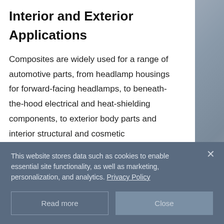Interior and Exterior Applications
Composites are widely used for a range of automotive parts, from headlamp housings for forward-facing headlamps, to beneath-the-hood electrical and heat-shielding components, to exterior body parts and interior structural and cosmetic
This website stores data such as cookies to enable essential site functionality, as well as marketing, personalization, and analytics. Privacy Policy
Read more
Close